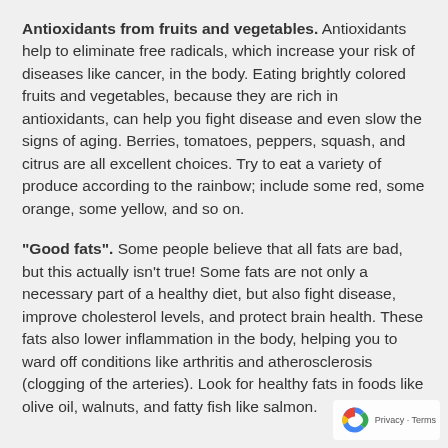Antioxidants from fruits and vegetables. Antioxidants help to eliminate free radicals, which increase your risk of diseases like cancer, in the body. Eating brightly colored fruits and vegetables, because they are rich in antioxidants, can help you fight disease and even slow the signs of aging. Berries, tomatoes, peppers, squash, and citrus are all excellent choices. Try to eat a variety of produce according to the rainbow; include some red, some orange, some yellow, and so on.
"Good fats". Some people believe that all fats are bad, but this actually isn't true! Some fats are not only a necessary part of a healthy diet, but also fight disease, improve cholesterol levels, and protect brain health. These fats also lower inflammation in the body, helping you to ward off conditions like arthritis and atherosclerosis (clogging of the arteries). Look for healthy fats in foods like olive oil, walnuts, and fatty fish like salmon.